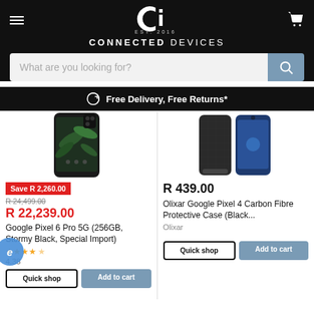[Figure (logo): Connected Devices logo — white stylized CI monogram on black background with EST. 2016, brand name CONNECTED DEVICES]
What are you looking for?
Free Delivery, Free Returns*
[Figure (photo): Google Pixel 6 Pro 5G smartphone showing dark tropical wallpaper]
Save R 2,260.00
R 24,499.00
R 22,239.00
Google Pixel 6 Pro 5G (256GB, Stormy Black, Special Import)
4.38
[Figure (photo): Olixar Google Pixel 4 Carbon Fibre Protective Case in black, showing phone with case side by side]
R 439.00
Olixar Google Pixel 4 Carbon Fibre Protective Case (Black...
Olixar